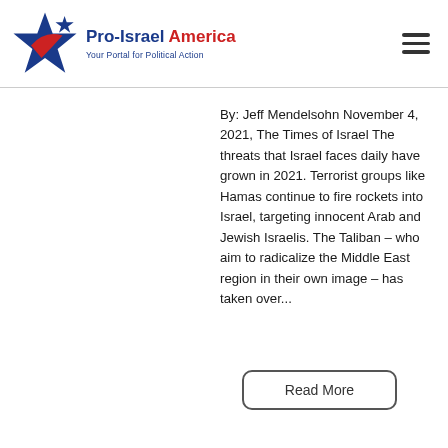[Figure (logo): Pro-Israel America logo with blue star and checkmark, with text 'Pro-Israel America' and subtitle 'Your Portal for Political Action']
By: Jeff Mendelsohn November 4, 2021, The Times of Israel The threats that Israel faces daily have grown in 2021. Terrorist groups like Hamas continue to fire rockets into Israel, targeting innocent Arab and Jewish Israelis. The Taliban – who aim to radicalize the Middle East region in their own image – has taken over...
Read More